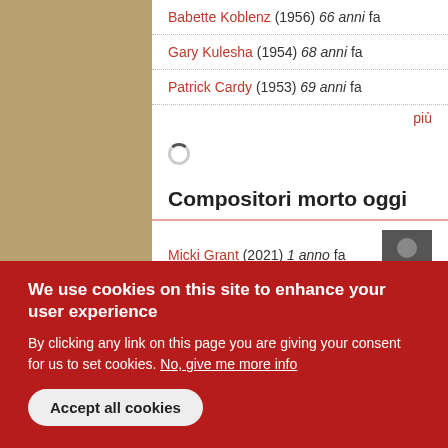Babette Koblenz (1956) 66 anni fa
Gary Kulesha (1954) 68 anni fa
Patrick Cardy (1953) 69 anni fa
più
Compositori morto oggi
Micki Grant (2021) 1 anno fa
Peder Holm (2020) 2 anni fa
Jean Charles Capon (2011) 11 anni fa
Laurentiu Profeta (2006) 16 anni fa
We use cookies on this site to enhance your user experience
By clicking any link on this page you are giving your consent for us to set cookies. No, give me more info
Accept all cookies